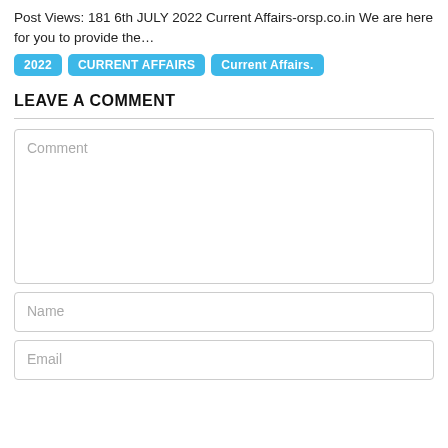Post Views: 181 6th JULY 2022 Current Affairs-orsp.co.in We are here for you to provide the…
2022
CURRENT AFFAIRS
Current Affairs.
LEAVE A COMMENT
Comment
Name
Email